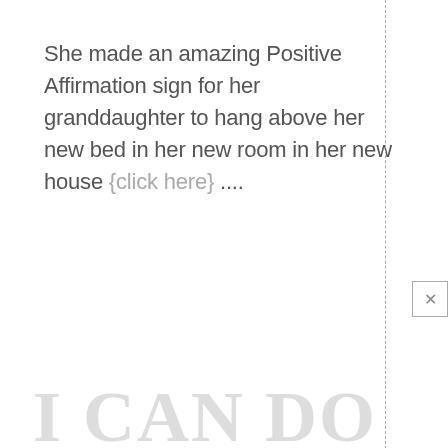She made an amazing Positive Affirmation sign for her granddaughter to hang above her new bed in her new room in her new house {click here} ....
[Figure (other): Watermark text reading 'I CAN DO' in large light gray serif letters at the bottom of the page]